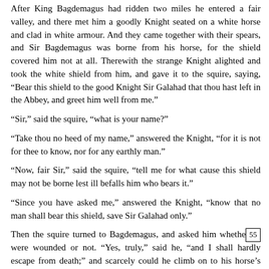After King Bagdemagus had ridden two miles he entered a fair valley, and there met him a goodly Knight seated on a white horse and clad in white armour. And they came together with their spears, and Sir Bagdemagus was borne from his horse, for the shield covered him not at all. Therewith the strange Knight alighted and took the white shield from him, and gave it to the squire, saying, “Bear this shield to the good Knight Sir Galahad that thou hast left in the Abbey, and greet him well from me.”
“Sir,” said the squire, “what is your name?”
“Take thou no heed of my name,” answered the Knight, “for it is not for thee to know, nor for any earthly man.”
“Now, fair Sir,” said the squire, “tell me for what cause this shield may not be borne lest ill befalls him who bears it.”
“Since you have asked me,” answered the Knight, “know that no man shall bear this shield, save Sir Galahad only.”
Then the squire turned to Bagdemagus, and asked him whether he were wounded or not. “Yes, truly,” said he, “and I shall hardly escape from death;” and scarcely could he climb on to his horse’s back when the squire brought it near him. But the
55